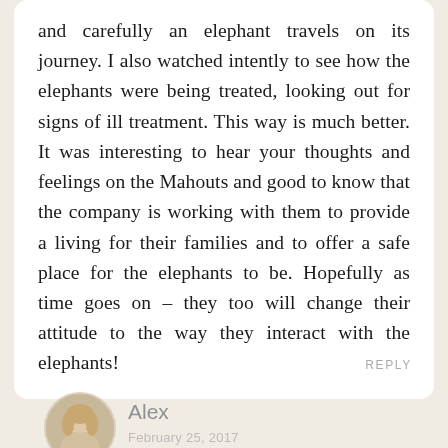and carefully an elephant travels on its journey. I also watched intently to see how the elephants were being treated, looking out for signs of ill treatment. This way is much better. It was interesting to hear your thoughts and feelings on the Mahouts and good to know that the company is working with them to provide a living for their families and to offer a safe place for the elephants to be. Hopefully as time goes on – they too will change their attitude to the way they interact with the elephants!
REPLY
Alex
February 25, 2017